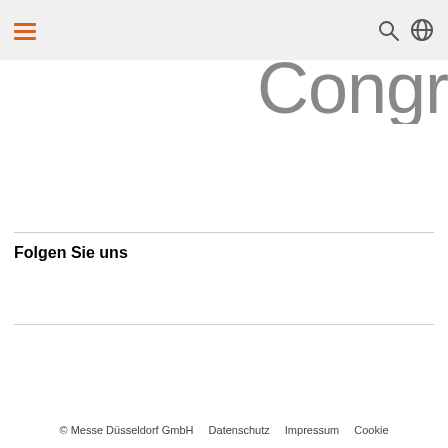navigation bar with hamburger menu, search and globe icons
Congr (partial logo text, cropped)
Folgen Sie uns
© Messe Düsseldorf GmbH   Datenschutz   Impressum   Cookie